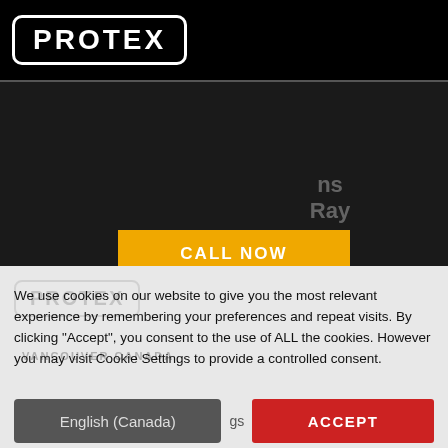[Figure (logo): PROTEX logo in white text with rounded rectangle border on black background]
ns Ray
[Figure (other): CALL NOW button in yellow/amber color]
Dis tric t of Ma ple
[Figure (logo): PROTEX logo watermark overlaid on cookie consent banner]
VANCOUVER CANADA
We use cookies on our website to give you the most relevant experience by remembering your preferences and repeat visits. By clicking “Accept”, you consent to the use of ALL the cookies. However you may visit Cookie Settings to provide a controlled consent.
English (Canada)
gs
ACCEPT